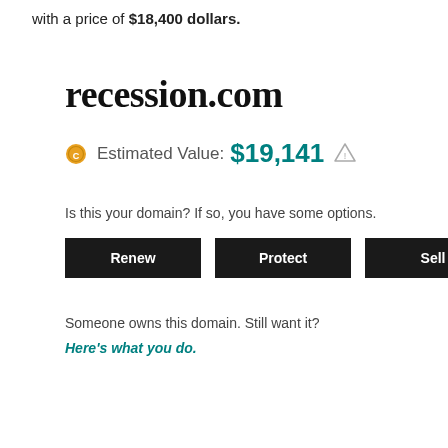with a price of $18,400 dollars.
recession.com
Estimated Value: $19,141
Is this your domain? If so, you have some options.
Renew  Protect  Sell
Someone owns this domain. Still want it?
Here's what you do.